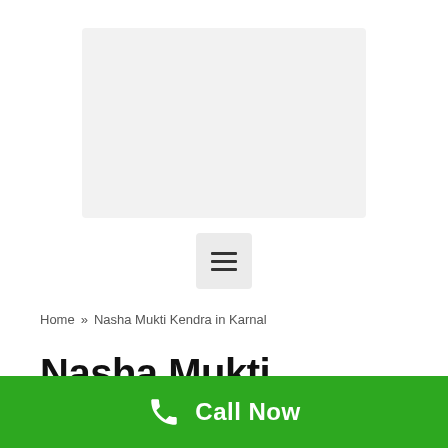[Figure (logo): Website logo placeholder image (light gray rectangle)]
[Figure (other): Hamburger menu button with three horizontal lines]
Home » Nasha Mukti Kendra in Karnal
Nasha Mukti Kendra in Karnal
Call Now